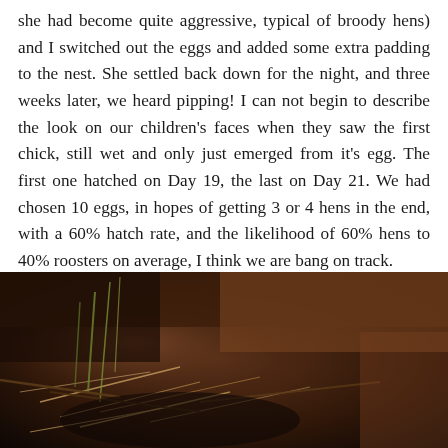she had become quite aggressive, typical of broody hens) and I switched out the eggs and added some extra padding to the nest. She settled back down for the night, and three weeks later, we heard pipping! I can not begin to describe the look on our children's faces when they saw the first chick, still wet and only just emerged from it's egg. The first one hatched on Day 19, the last on Day 21. We had chosen 10 eggs, in hopes of getting 3 or 4 hens in the end, with a 60% hatch rate, and the likelihood of 60% hens to 40% roosters on average, I think we are bang on track.
[Figure (photo): A dark photograph of a nest inside what appears to be a wooden chicken coop. There are pieces of straw, twigs, and plant material visible. The interior is dimly lit with warm brown wooden tones.]